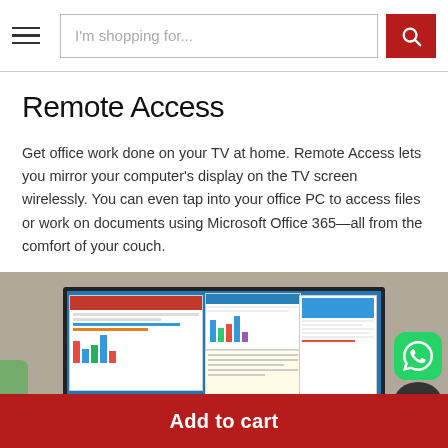I'm shopping for...
Remote Access
Get office work done on your TV at home. Remote Access lets you mirror your computer's display on the TV screen wirelessly. You can even tap into your office PC to access files or work on documents using Microsoft Office 365—all from the comfort of your couch.
[Figure (photo): A Samsung TV displaying a Windows desktop with multiple app windows open, including a browser, chart, and document, placed in a living room setting.]
Add to cart